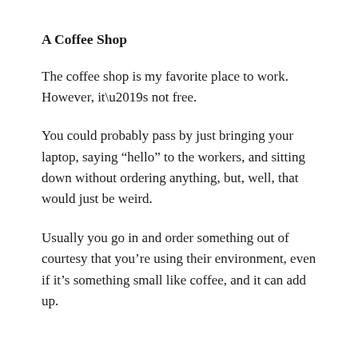A Coffee Shop
The coffee shop is my favorite place to work. However, it’s not free.
You could probably pass by just bringing your laptop, saying “hello” to the workers, and sitting down without ordering anything, but, well, that would just be weird.
Usually you go in and order something out of courtesy that you’re using their environment, even if it’s something small like coffee, and it can add up.